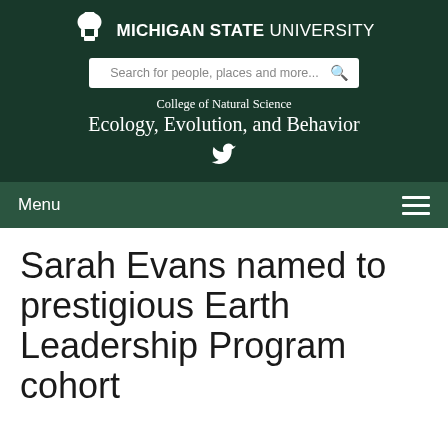[Figure (logo): Michigan State University Spartan helmet logo with MSU wordmark]
[Figure (screenshot): Search bar: Search for people, places and more...]
College of Natural Science
Ecology, Evolution, and Behavior
[Figure (logo): Twitter bird icon]
Menu
Sarah Evans named to prestigious Earth Leadership Program cohort